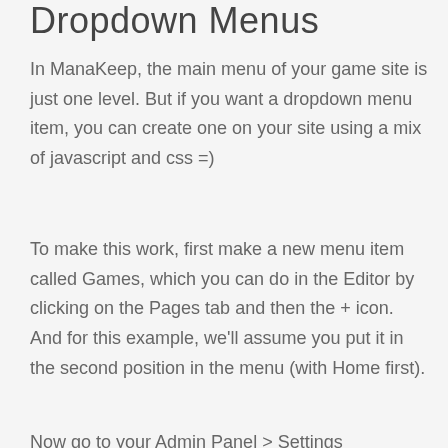Dropdown Menus
In ManaKeep, the main menu of your game site is just one level.  But if you want a dropdown menu item, you can create one on your site using a mix of javascript and css =)
To make this work, first make a new menu item called Games, which you can do in the Editor by clicking on the Pages tab and then the + icon.  And for this example, we'll assume you put it in the second position in the menu (with Home first).
Now go to your Admin Panel > Settings